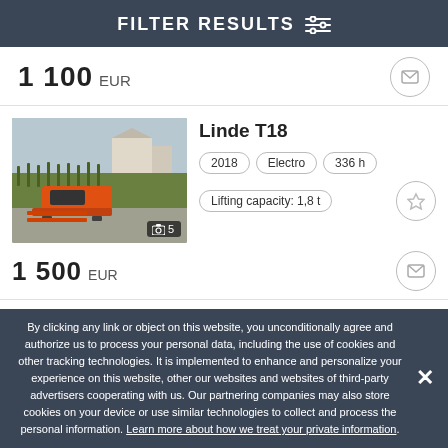FILTER RESULTS
1 100 EUR
[Figure (photo): Orange Linde T18 electric pallet truck parked outdoors near a cornfield]
Linde T18
2018  Electro  336 h  Lifting capacity: 1,8 t
1 500 EUR
By clicking any link or object on this website, you unconditionally agree and authorize us to process your personal data, including the use of cookies and other tracking technologies. It is implemented to enhance and personalize your experience on this website, other our websites and websites of third-party advertisers cooperating with us. Our partnering companies may also store cookies on your device or use similar technologies to collect and process the personal information. Learn more about how we treat your private information.